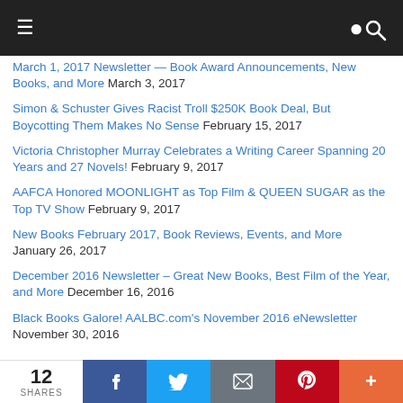Navigation bar with hamburger menu and search icon
March 1, 2017 Newsletter — Book Award Announcements, New Books, and More  March 3, 2017
Simon & Schuster Gives Racist Troll $250K Book Deal, But Boycotting Them Makes No Sense  February 15, 2017
Victoria Christopher Murray Celebrates a Writing Career Spanning 20 Years and 27 Novels!  February 9, 2017
AAFCA Honored MOONLIGHT as Top Film & QUEEN SUGAR as the Top TV Show  February 9, 2017
New Books February 2017, Book Reviews, Events, and More  January 26, 2017
December 2016 Newsletter – Great New Books, Best Film of the Year, and More  December 16, 2016
Black Books Galore! AALBC.com's November 2016 eNewsletter  November 30, 2016
12 SHARES | Facebook | Twitter | Email | Pinterest | More